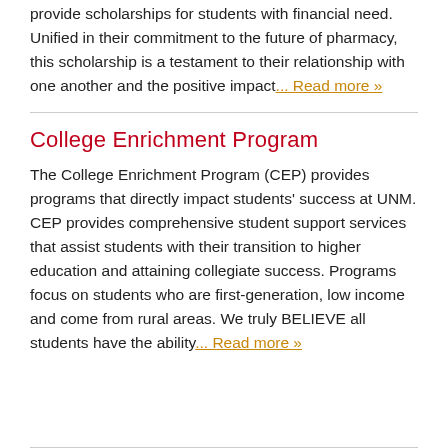provide scholarships for students with financial need. Unified in their commitment to the future of pharmacy, this scholarship is a testament to their relationship with one another and the positive impact... Read more »
College Enrichment Program
The College Enrichment Program (CEP) provides programs that directly impact students' success at UNM. CEP provides comprehensive student support services that assist students with their transition to higher education and attaining collegiate success. Programs focus on students who are first-generation, low income and come from rural areas. We truly BELIEVE all students have the ability... Read more »